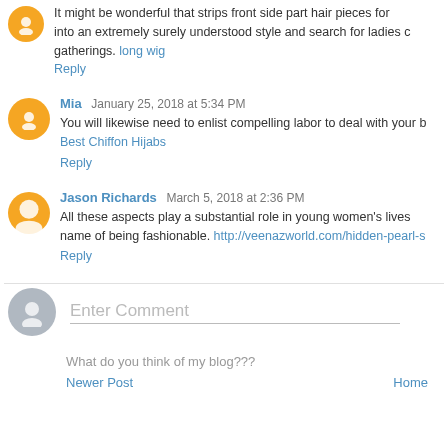It might be wonderful that strips front side part hair pieces for ... into an extremely surely understood style and search for ladies o... gatherings. long wig
Reply
Mia  January 25, 2018 at 5:34 PM
You will likewise need to enlist compelling labor to deal with your b... Best Chiffon Hijabs
Reply
Jason Richards  March 5, 2018 at 2:36 PM
All these aspects play a substantial role in young women's lives ... name of being fashionable. http://veenazworld.com/hidden-pearl-s...
Reply
Enter Comment
What do you think of my blog???
Newer Post   Home